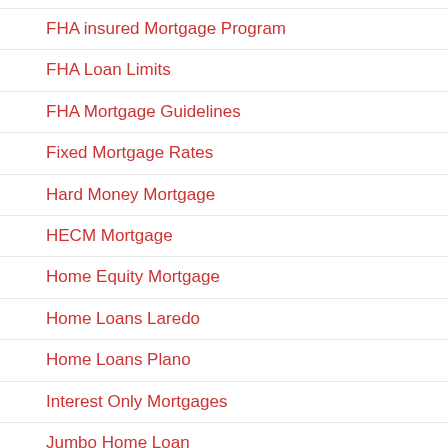FHA insured Mortgage Program
FHA Loan Limits
FHA Mortgage Guidelines
Fixed Mortgage Rates
Hard Money Mortgage
HECM Mortgage
Home Equity Mortgage
Home Loans Laredo
Home Loans Plano
Interest Only Mortgages
Jumbo Home Loan
Mortgage Lending
Mortgage Loans By State
Mortgage Rate Table